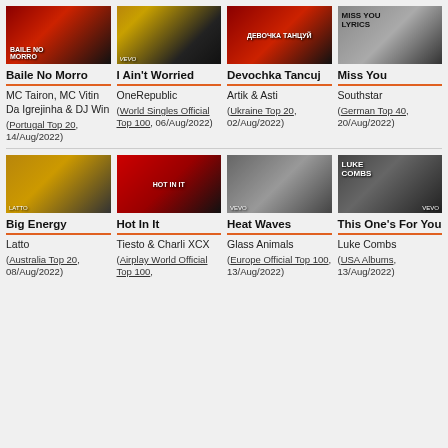[Figure (photo): Thumbnail for Baile No Morro - red/dark music video still]
Baile No Morro
MC Tairon, MC Vitin Da Igrejinha & DJ Win
(Portugal Top 20, 14/Aug/2022)
[Figure (photo): Thumbnail for I Ain't Worried - silhouette against sunset]
I Ain't Worried
OneRepublic
(World Singles Official Top 100, 06/Aug/2022)
[Figure (photo): Thumbnail for Devochka Tancuj - red and dark still]
Devochka Tancuj
Artik & Asti
(Ukraine Top 20, 02/Aug/2022)
[Figure (photo): Thumbnail for Miss You - grey/white lyrics video still]
Miss You
Southstar
(German Top 40, 20/Aug/2022)
[Figure (photo): Thumbnail for Big Energy - gold/glam still]
Big Energy
Latto
(Australia Top 20, 08/Aug/2022)
[Figure (photo): Thumbnail for Hot In It - red background still]
Hot In It
Tiesto & Charli XCX
(Airplay World Official Top 100,
[Figure (photo): Thumbnail for Heat Waves - city street VEVO still]
Heat Waves
Glass Animals
(Europe Official Top 100, 13/Aug/2022)
[Figure (photo): Thumbnail for This One's For You - Luke Combs VEVO still]
This One's For You
Luke Combs
(USA Albums, 13/Aug/2022)